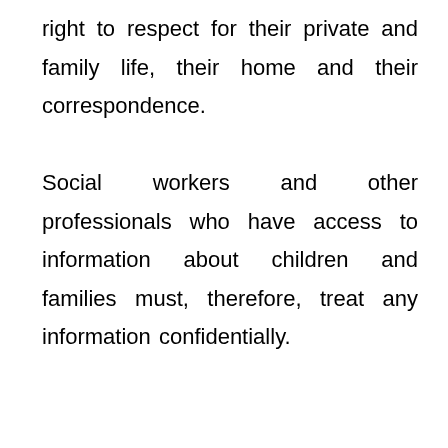right to respect for their private and family life, their home and their correspondence. Social workers and other professionals who have access to information about children and families must, therefore, treat any information confidentially.